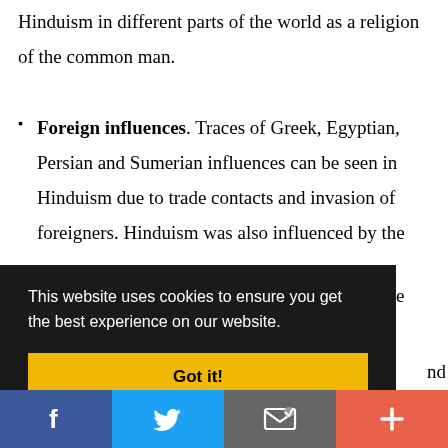Hinduism in different parts of the world as a religion of the common man.
Foreign influences. Traces of Greek, Egyptian, Persian and Sumerian influences can be seen in Hinduism due to trade contacts and invasion of foreigners. Hinduism was also influenced by the
[Figure (screenshot): Cookie consent overlay with text 'This website uses cookies to ensure you get the best experience on our website.' and a yellow 'Got it!' button]
[Figure (screenshot): Social media sharing bar with Facebook (blue), Twitter (light blue), Email (gray), and More (orange-red) buttons]